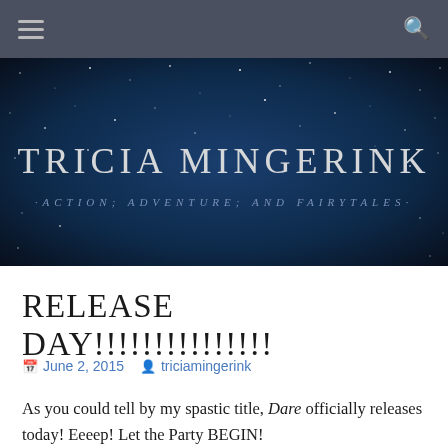≡  🔍
[Figure (illustration): Dark navy blue starry night sky banner with website title 'TRICIA MINGERINK' and subtitle 'ACTION; ADVENTURE; AND FAIRYTALES']
RELEASE DAY!!!!!!!!!!!!!!!
June 2, 2015   triciamingerink
As you could tell by my spastic title, Dare officially releases today! Eeeep! Let the Party BEGIN!